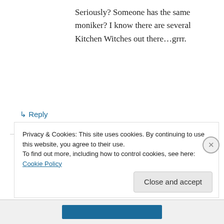Seriously? Someone has the same moniker? I know there are several Kitchen Witches out there…grrr.
↳ Reply
Carol on April 18, 2012 at 10:30 am
This is where I confess that I did not Google my blog name. When I started blogging I had no idea whatsoever it was such a large world and it
Privacy & Cookies: This site uses cookies. By continuing to use this website, you agree to their use.
To find out more, including how to control cookies, see here: Cookie Policy
Close and accept